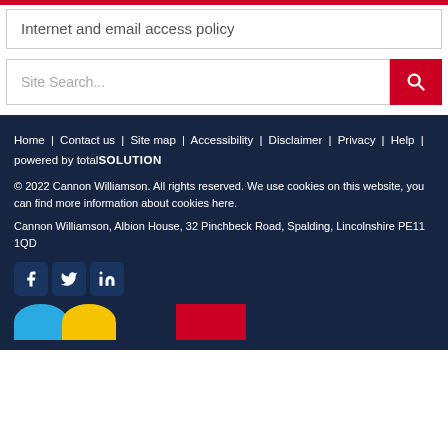Internet and email access policy
Site Search...
Home | Contact us | Site map | Accessibility | Disclaimer | Privacy | Help | powered by totalSOLUTION
© 2022 Cannon Williamson. All rights reserved. We use cookies on this website, you can find more information about cookies here.
Cannon Williamson, Albion House, 32 Pinchbeck Road, Spalding, Lincolnshire PE11 1QD